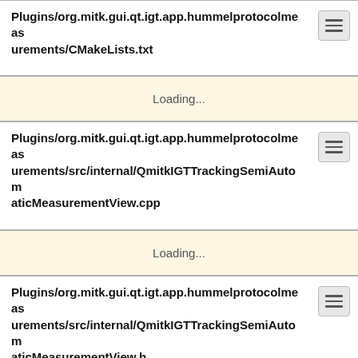Plugins/org.mitk.gui.qt.igt.app.hummelprotocolmeasurements/CMakeLists.txt
Loading...
Plugins/org.mitk.gui.qt.igt.app.hummelprotocolmeasurements/src/internal/QmitkIGTTrackingSemiAutomaticMeasurementView.cpp
Loading...
Plugins/org.mitk.gui.qt.igt.app.hummelprotocolmeasurements/src/internal/QmitkIGTTrackingSemiAutomaticMeasurementView.h
Loading...
Plugins/org.mitk.gui.qt.igt.app.hummelprotocolmeasurements/src/internal/QmitkIGTTrackingSemiAutom